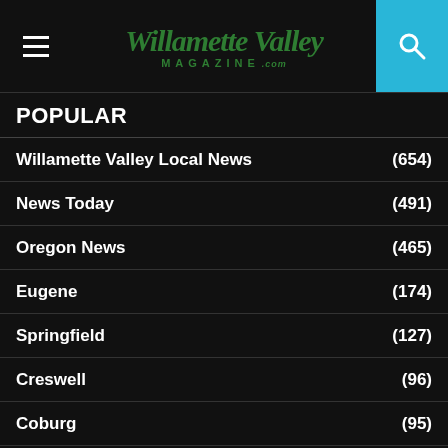[Figure (logo): Willamette Valley Magazine .com logo with hamburger menu and search icon]
POPULAR
Willamette Valley Local News (654)
News Today (491)
Oregon News (465)
Eugene (174)
Springfield (127)
Creswell (96)
Coburg (95)
Featured Willamette Stories (91)
Food, Drink, Restaurants (89)
Marcola